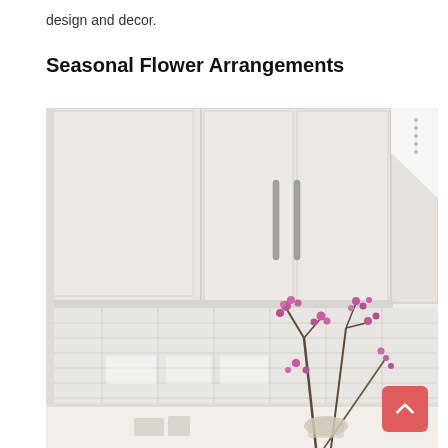design and decor.
Seasonal Flower Arrangements
[Figure (photo): A modern kitchen with white flat-panel upper cabinets featuring slim bar handles, white subway tile backsplash, and purple/pink flowering branches in a vase on the counter in the lower right.]